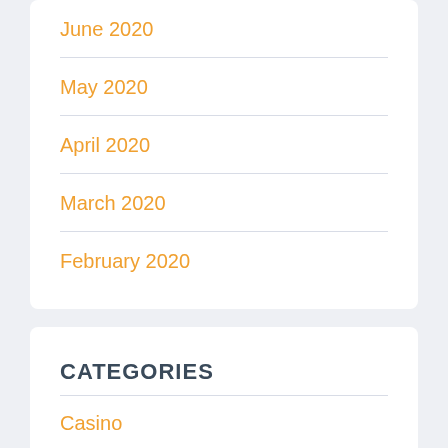June 2020
May 2020
April 2020
March 2020
February 2020
CATEGORIES
Casino
Poker